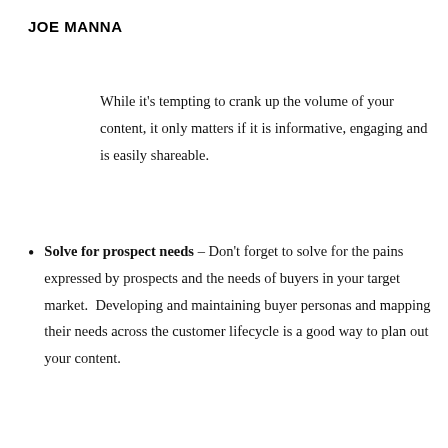JOE MANNA
While it's tempting to crank up the volume of your content, it only matters if it is informative, engaging and is easily shareable.
Solve for prospect needs – Don't forget to solve for the pains expressed by prospects and the needs of buyers in your target market.  Developing and maintaining buyer personas and mapping their needs across the customer lifecycle is a good way to plan out your content.